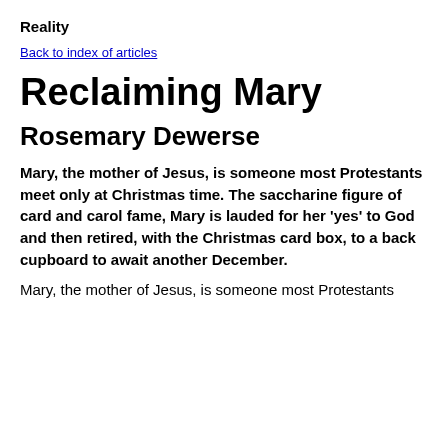Reality
Back to index of articles
Reclaiming Mary
Rosemary Dewerse
Mary, the mother of Jesus, is someone most Protestants meet only at Christmas time. The saccharine figure of card and carol fame, Mary is lauded for her 'yes' to God and then retired, with the Christmas card box, to a back cupboard to await another December.
Mary, the mother of Jesus, is someone most Protestants